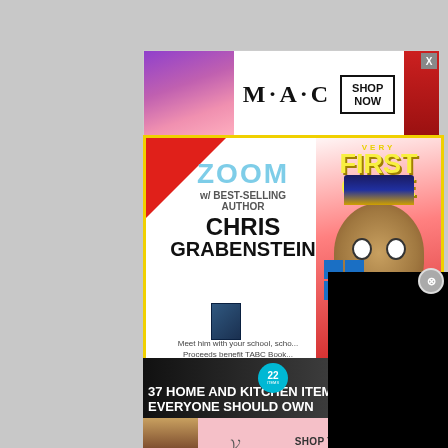[Figure (screenshot): MAC Cosmetics advertisement banner showing lipsticks on left, MAC logo wordmark in center, SHOP NOW box, and red lipstick on right. Close button (X) in top-right corner.]
[Figure (screenshot): Zoom event promotional card with yellow border. Left side: red corner, ZOOM w/ BEST-SELLING AUTHOR CHRIS GRABENSTEIN in large bold text, Meet him with your school, Proceeds benefit TABC Book text. Right side: VERY FIRST GAME text with cartoon character illustration wearing top hat.]
[Figure (screenshot): Black rectangle overlay (video player) covering part of the zoom card on right side.]
[Figure (screenshot): 37 HOME AND KITCHEN ITEMS EVERYONE SHOULD OWN advertisement banner on dark background with teal badge showing 22, CLOSE button, and X close icon.]
[Figure (screenshot): Victoria's Secret advertisement banner on pink background showing woman photo, Victoria's Secret script logo, SHOP THE COLLECTION text, and SHOP NOW button.]